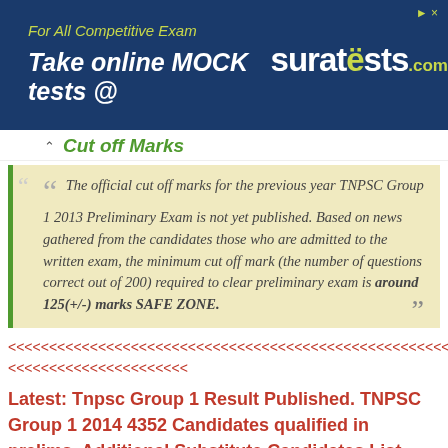[Figure (illustration): Advertisement banner for suratests.com: 'For All Competitive Exam Take online MOCK tests @ suratests.com' on dark blue background with yellow-green text]
Cut off Marks
The official cut off marks for the previous year TNPSC Group 1 2013 Preliminary Exam is not yet published. Based on news gathered from the candidates those who are admitted to the written exam, the minimum cut off mark (the number of questions correct out of 200) required to clear preliminary exam is around 125(+/-) marks SAFE ZONE.
<<<<<<<<<<<<<<<<<<<<<<<<<<<<<<<<<<<<<<<<<<<<<<<<<<<<<<<<<< <<<<<<<<<<<<<<<<<<<<<<
Latest: Tnpsc Group 1 Result Published. TNPSC Group 1 2014 4352 Candidates qualified in prelims. Additional Substitute Candidates List